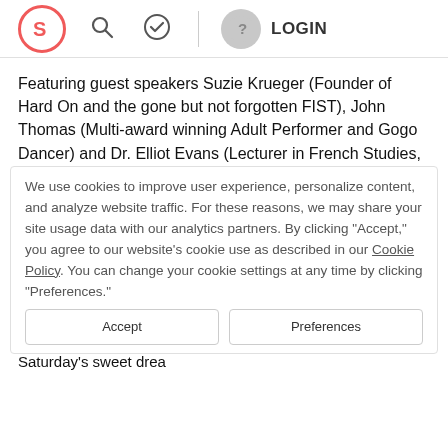Navigation bar with logo, search, check icon, divider, user avatar, LOGIN
Featuring guest speakers Suzie Krueger (Founder of Hard On and the gone but not forgotten FIST), John Thomas (Multi-award winning Adult Performer and Gogo Dancer) and Dr. Elliot Evans (Lecturer in French Studies, Gender and Sexuality at the University of Birmingham)
CW: Nudity, Light BDSM and On-Simulated Sex
Drag Bedtime Stories - 21:00
Once you have tucked yourself in, our amazing dragky little hearts can handle it some of Fringe's favourite drag artists send you off to into the land of slumber with some night time tales, sure to make your dreams that little more fabulous.
Saturday's sweet drea
We use cookies to improve user experience, personalize content, and analyze website traffic. For these reasons, we may share your site usage data with our analytics partners. By clicking "Accept," you agree to our website's cookie use as described in our Cookie Policy. You can change your cookie settings at any time by clicking "Preferences."
Preferences